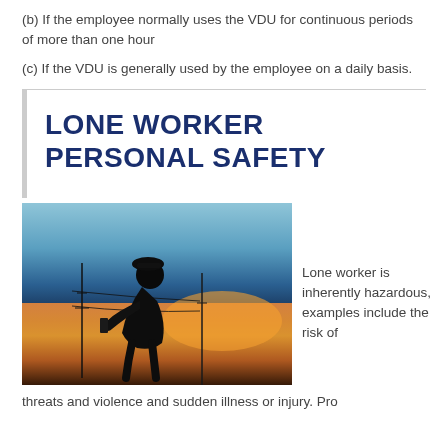(b) If the employee normally uses the VDU for continuous periods of more than one hour
(c) If the VDU is generally used by the employee on a daily basis.
LONE WORKER PERSONAL SAFETY
[Figure (photo): Silhouette of a lone worker in a hard hat inspecting equipment at a power station against an orange and blue sunset sky]
Lone worker is inherently hazardous, examples include the risk of
threats and violence and sudden illness or injury. Pro